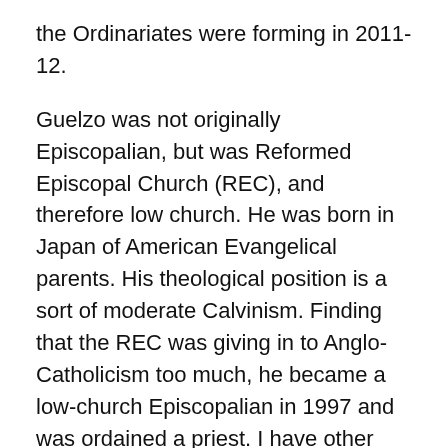the Ordinariates were forming in 2011-12.
Guelzo was not originally Episcopalian, but was Reformed Episcopal Church (REC), and therefore low church. He was born in Japan of American Evangelical parents. His theological position is a sort of moderate Calvinism. Finding that the REC was giving in to Anglo-Catholicism too much, he became a low-church Episcopalian in 1997 and was ordained a priest. I have other details but I am not at liberty to go into them all here.
What seems to have attracted John Bruce was this “evangelical” Catholic tendency. I am not sure he ever understood the issues with Anglo-Catholicism or RC traditionalism in its spectrum of “positions”. He wants to give the highest priority to the authority and magisterium of the Pope, to clericalism. He would prefer a reverent Novus